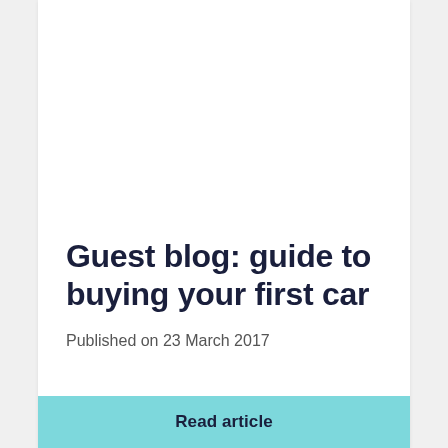Guest blog: guide to buying your first car
Published on 23 March 2017
Read article